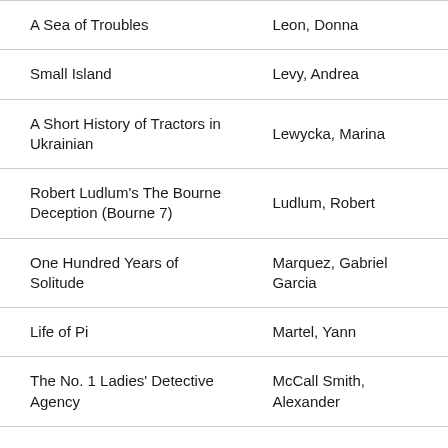| Title | Author |
| --- | --- |
| A Sea of Troubles | Leon, Donna |
| Small Island | Levy, Andrea |
| A Short History of Tractors in Ukrainian | Lewycka, Marina |
| Robert Ludlum's The Bourne Deception (Bourne 7) | Ludlum, Robert |
| One Hundred Years of Solitude | Marquez, Gabriel Garcia |
| Life of Pi | Martel, Yann |
| The No. 1 Ladies' Detective Agency | McCall Smith, Alexander |